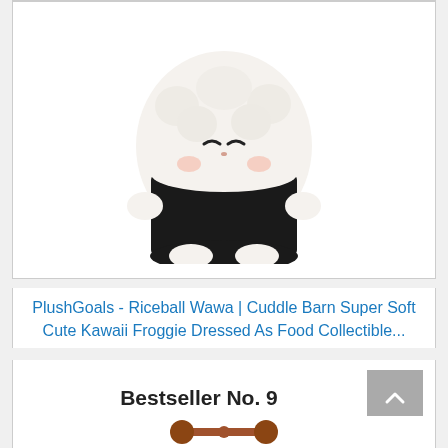[Figure (photo): PlushGoals Riceball Wawa kawaii frog plush toy dressed as a riceball/onigiri, white fluffy body with black nori wrap detail, sitting pose]
PlushGoals - Riceball Wawa | Cuddle Barn Super Soft Cute Kawaii Froggie Dressed As Food Collectible...
Buy on Amazon
Bestseller No. 9
[Figure (photo): Partial view of next product - wooden toy or instrument]